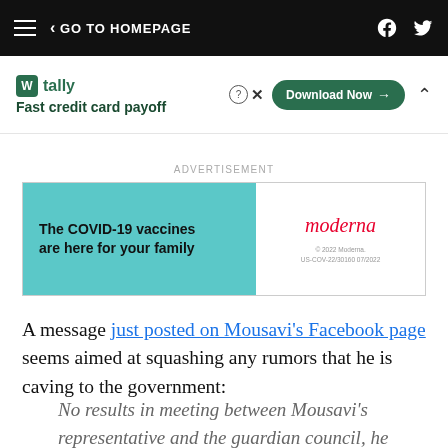< GO TO HOMEPAGE
[Figure (other): Tally app advertisement banner: Fast credit card payoff, Download Now button]
ADVERTISEMENT
[Figure (other): Moderna COVID-19 vaccine advertisement: 'The COVID-19 vaccines are here for your family' with Moderna logo]
A message just posted on Mousavi's Facebook page seems aimed at squashing any rumors that he is caving to the government:
No results in meeting between Mousavi's representative and the guardian council, he didnt give up to them: 'Mir Hossein Mousavi